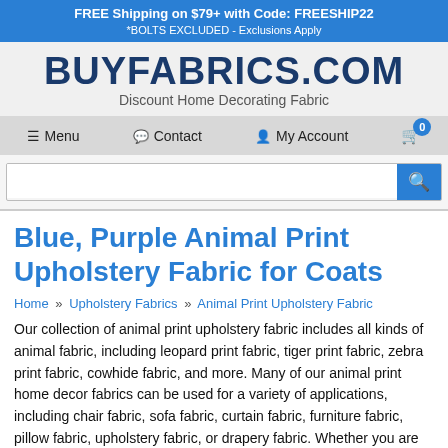FREE Shipping on $79+ with Code: FREESHIP22
*BOLTS EXCLUDED - Exclusions Apply
BUYFABRICS.COM
Discount Home Decorating Fabric
≡ Menu   💬 Contact   👤 My Account   🛒 0
[Search bar]
Blue, Purple Animal Print Upholstery Fabric for Coats
Home » Upholstery Fabrics » Animal Print Upholstery Fabric
Our collection of animal print upholstery fabric includes all kinds of animal fabric, including leopard print fabric, tiger print fabric, zebra print fabric, cowhide fabric, and more. Many of our animal print home decor fabrics can be used for a variety of applications, including chair fabric, sofa fabric, curtain fabric, furniture fabric, pillow fabric, upholstery fabric, or drapery fabric. Whether you are sewing a pillow cover for a throw pillow, making curtains, or need